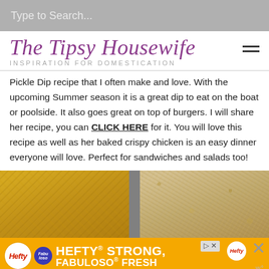Type to Search...
The Tipsy Housewife — INSPIRATION FOR DOMESTICATION
Pickle Dip recipe that I often make and love. With the upcoming Summer season it is a great dip to eat on the boat or poolside. It also goes great on top of burgers. I will share her recipe, you can CLICK HERE for it. You will love this recipe as well as her baked crispy chicken is an easy dinner everyone will love. Perfect for sandwiches and salads too!
[Figure (photo): Two-part food photo showing baked chicken: left side shows a golden mustard-coated chicken piece, right side shows a crispy breaded/crumb-coated chicken piece.]
[Figure (infographic): Hefty and Fabuloso advertisement banner. Text reads: HEFTY STRONG, FABULOSO FRESH]